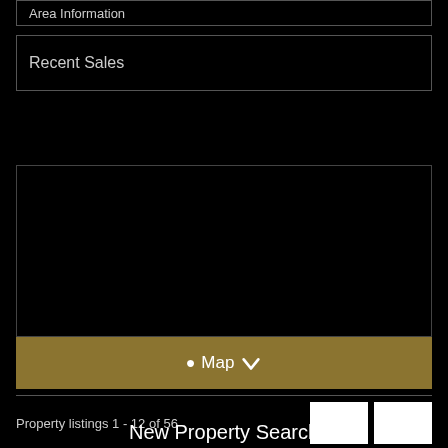Area Information
Recent Sales
[Figure (map): Map view area showing property locations, dark background]
Map
Property listings 1 - 12 of 56
New Property Search